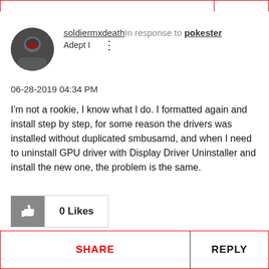soldiermxdeath In response to pokester
Adept I
06-28-2019 04:34 PM
I'm not a rookie, I know what I do. I formatted again and install step by step, for some reason the drivers was installed without duplicated smbusamd, and when I need to uninstall GPU driver with Display Driver Uninstaller and install the new one, the problem is the same.
0 Likes
SHARE
REPLY